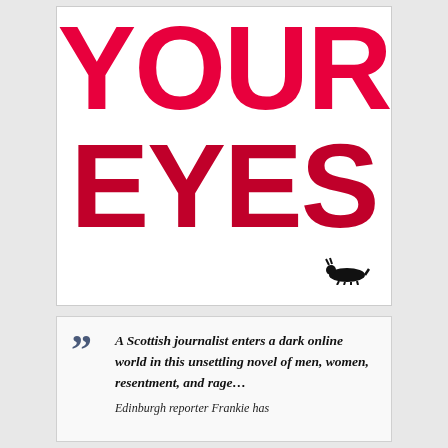[Figure (illustration): Book cover showing large bold red text 'YOUR EYES' on white background with small black panther logo at bottom right]
A Scottish journalist enters a dark online world in this unsettling novel of men, women, resentment, and rage… Edinburgh reporter Frankie has